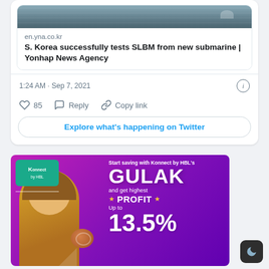[Figure (screenshot): Tweet card showing a link preview to en.yna.co.kr article 'S. Korea successfully tests SLBM from new submarine | Yonhap News Agency', with timestamp 1:24 AM · Sep 7, 2021, like count 85, Reply and Copy link actions, and an 'Explore what's happening on Twitter' button.]
en.yna.co.kr
S. Korea successfully tests SLBM from new submarine | Yonhap News Agency
1:24 AM · Sep 7, 2021
85  Reply  Copy link
Explore what's happening on Twitter
[Figure (photo): Advertisement banner for Konnect by HBL's GULAK savings product. Purple/magenta background with a woman in yellow dress holding a phone, piggy bank, and text: 'Start saving with Konnect by HBL's GULAK and get highest PROFIT Up to 13.5%']